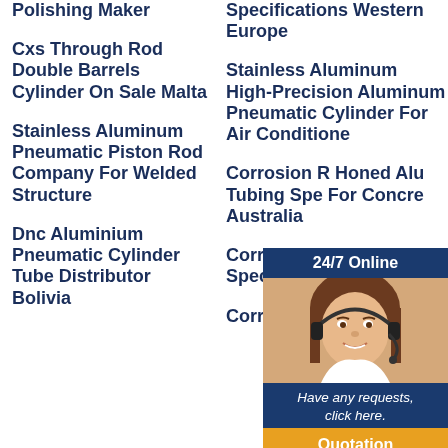Polishing Maker
Cxs Through Rod Double Barrels Cylinder On Sale Malta
Stainless Aluminum Pneumatic Piston Rod Company For Welded Structure
Dnc Aluminium Pneumatic Cylinder Tube Distributor Bolivia
Specifications Western Europe
Stainless Aluminum High-Precision Aluminum Pneumatic Cylinder For Air Conditione
Corrosion R Honed Alu Tubing Spe For Concre Australia
Corrosion R Round Alu Specification
Corrosion Resistant
[Figure (photo): Customer service widget with 24/7 Online header, woman with headset photo, 'Have any requests, click here.' text, and Quotation button]